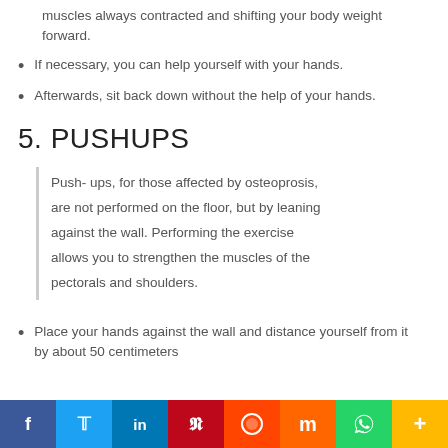muscles always contracted and shifting your body weight forward.
If necessary, you can help yourself with your hands.
Afterwards, sit back down without the help of your hands.
5. PUSHUPS
Push- ups, for those affected by osteoprosis, are not performed on the floor, but by leaning against the wall. Performing the exercise allows you to strengthen the muscles of the pectorals and shoulders.
Place your hands against the wall and distance yourself from it by about 50 centimeters.